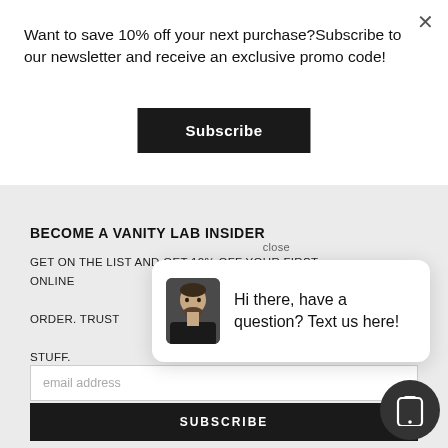Want to save 10% off your next purchase?Subscribe to our newsletter and receive an exclusive promo code!
Subscribe
BECOME A VANITY LAB INSIDER
GET ON THE LIST AND GET 10% OFF YOUR FIRST ONLINE ORDER. TRUST... STUFF.
close
Hi there, have a question? Text us here!
email address
SUBSCRIBE